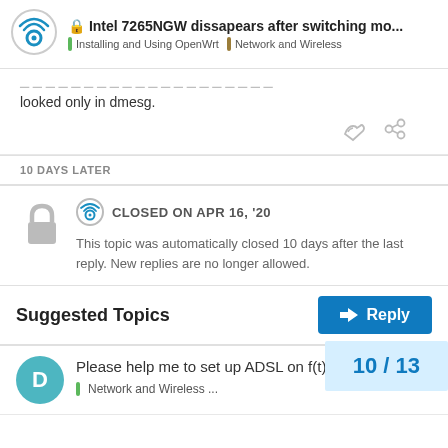Intel 7265NGW dissapears after switching mo... | Installing and Using OpenWrt | Network and Wireless
looked only in dmesg.
10 DAYS LATER
CLOSED ON APR 16, '20
This topic was automatically closed 10 days after the last reply. New replies are no longer allowed.
Suggested Topics
Please help me to set up ADSL on f(t)elia
Network and Wireless ...
9
10 / 13